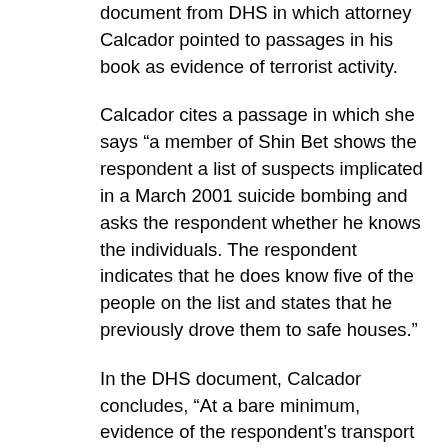document from DHS in which attorney Calcador pointed to passages in his book as evidence of terrorist activity.
Calcador cites a passage in which she says “a member of Shin Bet shows the respondent a list of suspects implicated in a March 2001 suicide bombing and asks the respondent whether he knows the individuals. The respondent indicates that he does know five of the people on the list and states that he previously drove them to safe houses.”
In the DHS document, Calcador concludes, “At a bare minimum, evidence of the respondent’s transport of Hamas